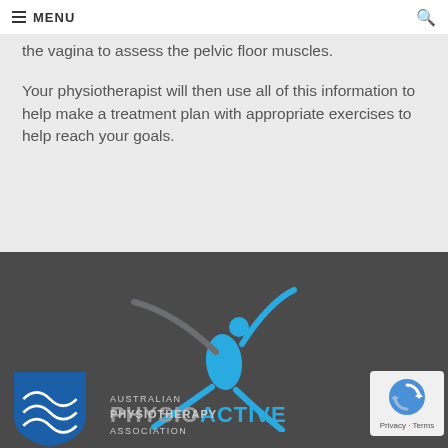MENU
the vagina to assess the pelvic floor muscles.
Your physiotherapist will then use all of this information to help make a treatment plan with appropriate exercises to help reach your goals.
[Figure (logo): PhysioActive logo with blue stylized figure and grey text reading PHYSIOACTIVE]
[Figure (logo): Australian Physiotherapy Association logo with blue shield and text]